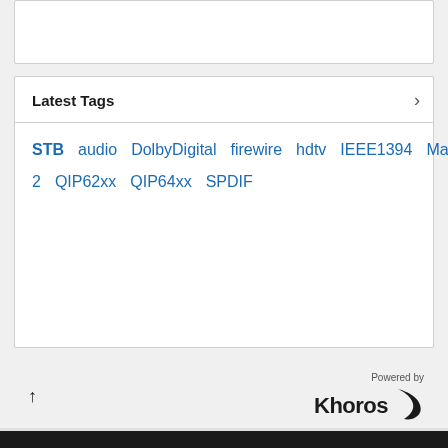Latest Tags
STB audio DolbyDigital firewire hdtv IEEE1394 Macintosh motorola optical output PCM ports QIP6200 QIP6200-2 QIP62xx QIP64xx SPDIF
Shop